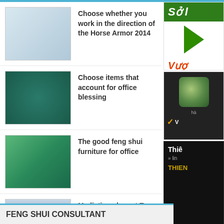Choose whether you work in the direction of the Horse Armor 2014
Choose items that account for office blessing
The good feng shui furniture for office
Mediation shop at T-junctions year like?
FENG SHUI CONSULTANT
[Figure (other): Advertisement panel 1 with Vietnamese text Sở and Vượng]
[Figure (other): Advertisement panel 2 with jade image and Vietnamese text]
[Figure (other): Advertisement panel 3 dark background with Vietnamese text Thiên and THIEN]